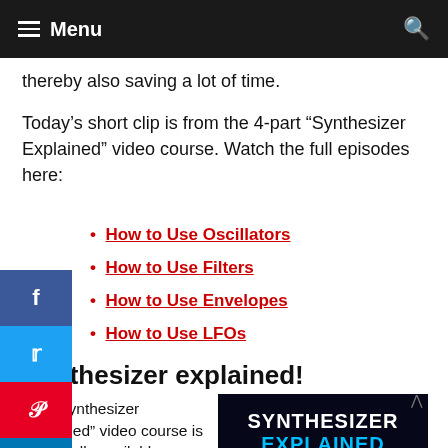Menu
thereby also saving a lot of time.
Today’s short clip is from the 4-part “Synthesizer Explained” video course. Watch the full episodes here:
How to Use Oscillators
How to Use Filters
How to Use Envelopes
How to Use LFOs
Synthesizer explained!
The “Synthesizer Explained” video course is now finally available as an
[Figure (illustration): Dark background image with 'SYNTHESIZER EXPLAINED' text in white and blue colors]